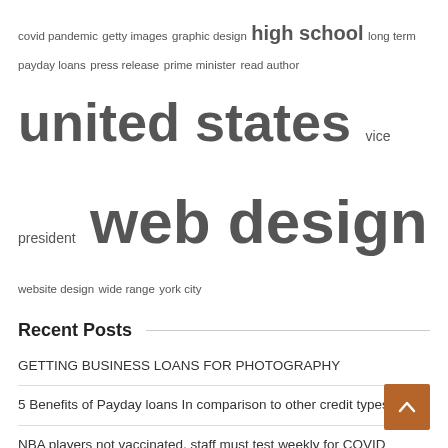covid pandemic  getty images  graphic design  high school  long term  payday loans  press release  prime minister  read author  united states  vice president  web design  website design  wide range  york city
Recent Posts
GETTING BUSINESS LOANS FOR PHOTOGRAPHY
5 Benefits of Payday loans In comparison to other credit types
NBA players not vaccinated, staff must test weekly for COVID
Cartwright Home Team – Chicago Agent Magazine
A Knives Out Mystery releases new images and character details
Emulate film noir lighting in a home photography setup, using a gobo